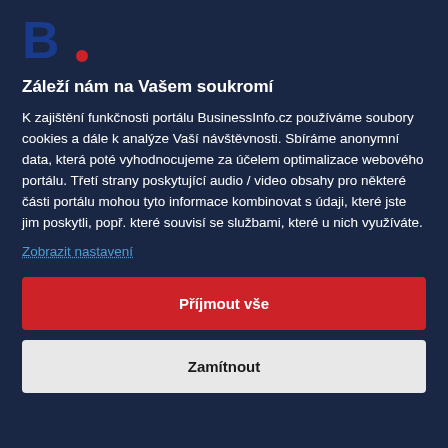[Figure (logo): BI. logo with blue 'B' and red 'I.' letters]
Záleží nám na Vašem soukromí
K zajištění funkčnosti portálu BusinessInfo.cz používáme soubory cookies a dále k analýze Vaší návštěvnosti. Sbíráme anonymní data, která poté vyhodnocujeme za účelem optimalizace webového portálu. Třetí strany poskytující audio / video obsahy pro některé části portálu mohou tyto informace kombinovat s údaji, které jste jim poskytli, popř. které souvisí se službami, které u nich využíváte.
Zobrazit nastavení
Příjmout vše
Zamítnout